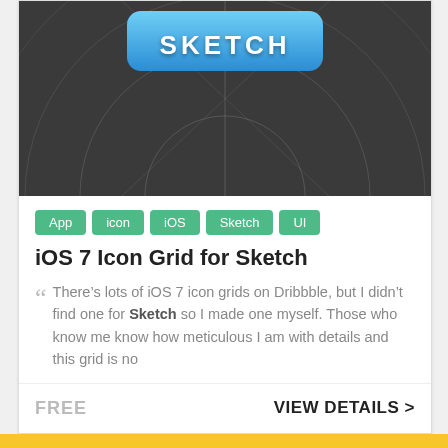[Figure (screenshot): Dark iOS icon grid background with a blue rounded-rectangle button labeled SKETCH at the top center, and circular/cross grid guidelines on dark gray background]
App
icon
iOS
Sketch
UI
iOS 7 Icon Grid for Sketch
There’s lots of iOS 7 icon grids on Dribbble, but I didn’t find one for Sketch so I made one myself. Those who know me know how meticulous I am with details and this grid is no
FREE
VIEW DETAILS >